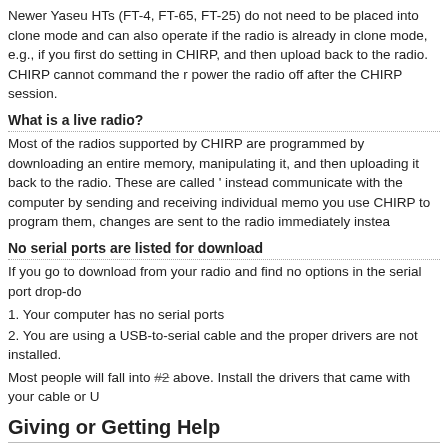Newer Yaseu HTs (FT-4, FT-65, FT-25) do not need to be placed into clone mode and can also operate if the radio is already in clone mode, e.g., if you first do setting in CHIRP, and then upload back to the radio. CHIRP cannot command the r power the radio off after the CHIRP session.
What is a live radio?
Most of the radios supported by CHIRP are programmed by downloading an entire memory, manipulating it, and then uploading it back to the radio. These are called ' instead communicate with the computer by sending and receiving individual memo you use CHIRP to program them, changes are sent to the radio immediately instea
No serial ports are listed for download
If you go to download from your radio and find no options in the serial port drop-do
1. Your computer has no serial ports
2. You are using a USB-to-serial cable and the proper drivers are not installed.
Most people will fall into #2 above. Install the drivers that came with your cable or U
Giving or Getting Help
If you have a question about anything, please join the CHIRP  mailing list and ask the author or developers directly!
The mailing list has the latest discussion traffic and news about CHIRP.
Can I report a bug or request a feature?
Have you found a bug or do you have a good idea for a future release? Please hel provides a way for users to report bugs, generic issues, and request features. Plea